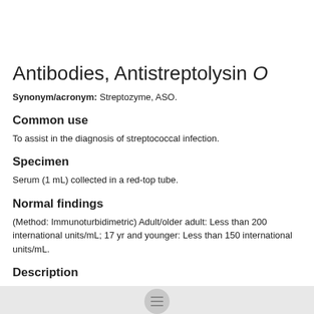Antibodies, Antistreptolysin O
Synonym/acronym: Streptozyme, ASO.
Common use
To assist in the diagnosis of streptococcal infection.
Specimen
Serum (1 mL) collected in a red-top tube.
Normal findings
(Method: Immunoturbidimetric) Adult/older adult: Less than 200 international units/mL; 17 yr and younger: Less than 150 international units/mL.
Description